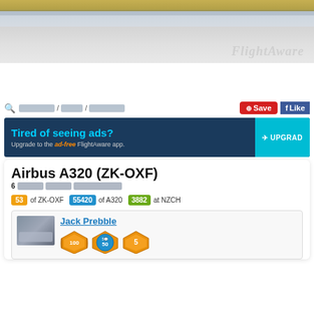[Figure (photo): FlightAware hero photo of aircraft apron/tarmac with hangar structure at top, FlightAware watermark visible]
🔍 ░░░░░ / ░░░ / ░░░░░    [Save]  [f Like]
[Figure (screenshot): Upgrade banner: Tired of seeing ads? Upgrade to the ad-free FlightAware app. UPGRADE button.]
Airbus A320 (ZK-OXF)
6 [blurred] [blurred] [blurred]
53 of ZK-OXF   55420 of A320   3882 at NZCH
Jack Prebble
[Figure (photo): Small thumbnail photo of aircraft and three achievement medal badges]